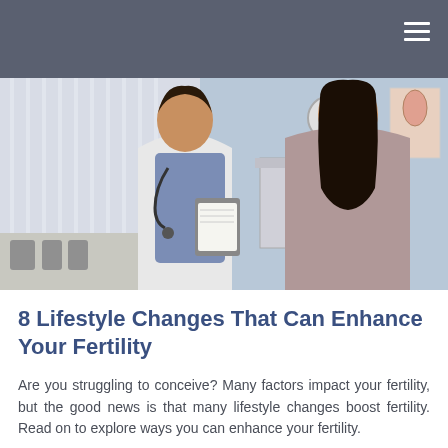[Figure (photo): A female doctor in white coat with stethoscope holding a clipboard, consulting with a female patient in a medical office setting with blinds, clock, and medical chart on the wall in the background.]
8 Lifestyle Changes That Can Enhance Your Fertility
Are you struggling to conceive? Many factors impact your fertility, but the good news is that many lifestyle changes boost fertility. Read on to explore ways you can enhance your fertility.